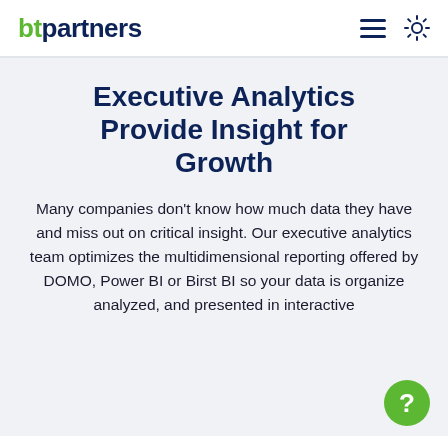btpartners
Executive Analytics Provide Insight for Growth
Many companies don’t know how much data they have and miss out on critical insight. Our executive analytics team optimizes the multidimensional reporting offered by DOMO, Power BI or Birst BI so your data is organize analyzed, and presented in interactive